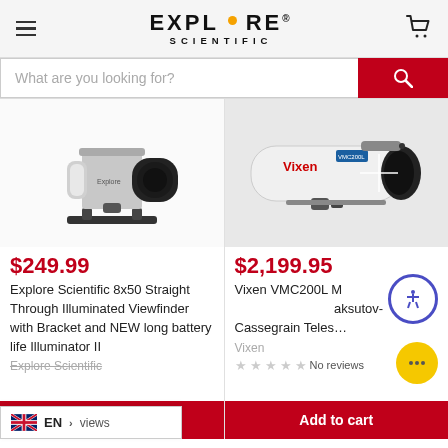Explore Scientific
What are you looking for?
[Figure (photo): Explore Scientific 8x50 straight-through illuminated viewfinder scope with bracket]
$249.99
Explore Scientific 8x50 Straight Through Illuminated Viewfinder with Bracket and NEW long battery life Illuminator II
Explore Scientific
Add to cart
[Figure (photo): Vixen VMC200L Maksutov-Cassegrain Telescope white tube with black lens cap]
$2,199.95
Vixen VMC200L Maksutov-Cassegrain Telescope
Vixen
No reviews
Add to cart